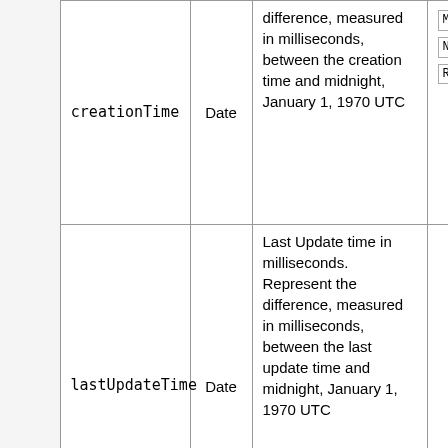|  | Field Name | Type | Description | Constraints |
| --- | --- | --- | --- | --- |
|  | creationTime | Date | difference, measured in milliseconds, between the creation time and midnight, January 1, 1970 UTC | Mandatory
NotNull
ReadOnly |
|  | lastUpdateTime | Date | Last Update time in milliseconds. Represent the difference, measured in milliseconds, between the last update time and midnight, January 1, 1970 UTC | Mandatory
NotNull |